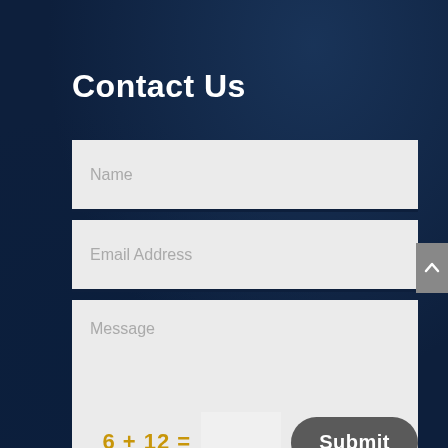Contact Us
Name
Email Address
Message
6 + 12 =
Submit